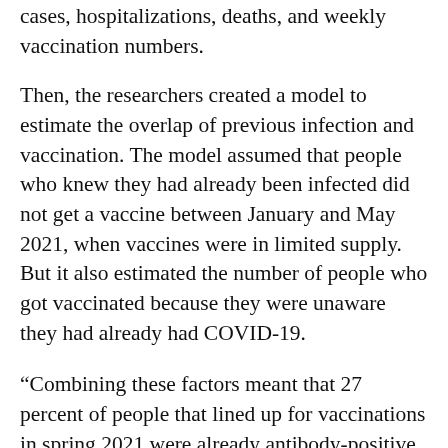cases, hospitalizations, deaths, and weekly vaccination numbers.
Then, the researchers created a model to estimate the overlap of previous infection and vaccination. The model assumed that people who knew they had already been infected did not get a vaccine between January and May 2021, when vaccines were in limited supply. But it also estimated the number of people who got vaccinated because they were unaware they had already had COVID-19.
“Combining these factors meant that 27 percent of people that lined up for vaccinations in spring 2021 were already antibody-positive and just
[Figure (infographic): Advertisement banner for Piro Auto in Ashburn showing logo, open status (OPEN 7:30AM-6PM), address (43781 Parkhurst Plaza, Ashburn), and navigation arrow icon, with play and close control icons below.]